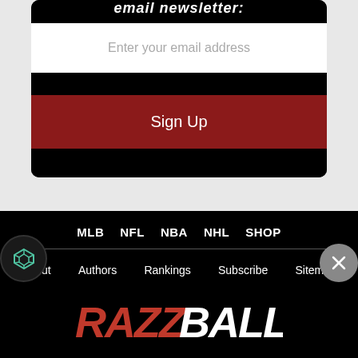email newsletter:
Enter your email address
Sign Up
MLB  NFL  NBA  NHL  SHOP
About
Authors
Rankings
Subscribe
Sitemap
[Figure (logo): Razzball logo in red and white italic bold lettering]